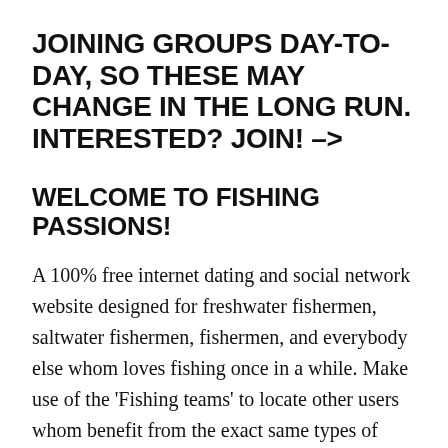JOINING GROUPS DAY-TO-DAY, SO THESE MAY CHANGE IN THE LONG RUN. INTERESTED? JOIN! –>
WELCOME TO FISHING PASSIONS!
A 100% free internet dating and social network website designed for freshwater fishermen, saltwater fishermen, fishermen, and everybody else whom loves fishing once in a while. Make use of the 'Fishing teams' to locate other users whom benefit from the exact same types of fishing you are doing. Fly Fishing, Big-game Fishing, Sport